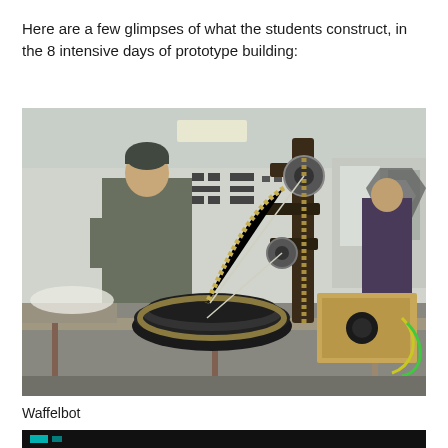Here are a few glimpses of what the students construct, in the 8 intensive days of prototype building:
[Figure (photo): A student in a grey t-shirt and beanie stands beside a large mechanical robot prototype (Waffelbot) on a workbench. The robot includes a robotic arm with chains and pulleys, and a round black waffle iron-like base. In the background is a workshop space with other students and wall decorations.]
Waffelbot
[Figure (photo): Bottom portion of a dark photograph showing the beginning of another student project, with a teal/green lit element visible.]